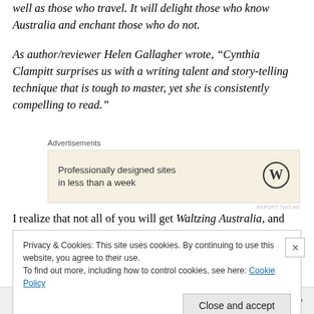well as those who travel. It will delight those who know Australia and enchant those who do not.
As author/reviewer Helen Gallagher wrote, “Cynthia Clampitt surprises us with a writing talent and story-telling technique that is tough to master, yet she is consistently compelling to read.”
[Figure (other): Advertisement box with text 'Professionally designed sites in less than a week' and WordPress logo on beige background. Labeled 'Advertisements' above and 'REPORT THIS AD' below.]
I realize that not all of you will get Waltzing Australia, and
Privacy & Cookies: This site uses cookies. By continuing to use this website, you agree to their use.
To find out more, including how to control cookies, see here: Cookie Policy
Follow ...